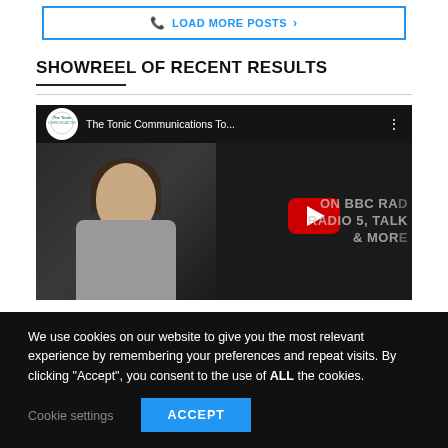[Figure (screenshot): A button with blue border reading 'LOAD MORE POSTS >' with a phone icon]
SHOWREEL OF RECENT RESULTS
[Figure (screenshot): YouTube video thumbnail showing 'The Tonic Communications To...' with a woman on screen and text overlay reading 'ON BBC RADIO 5, TALK & MORE']
We use cookies on our website to give you the most relevant experience by remembering your preferences and repeat visits. By clicking "Accept", you consent to the use of ALL the cookies.
Cookie settings
ACCEPT